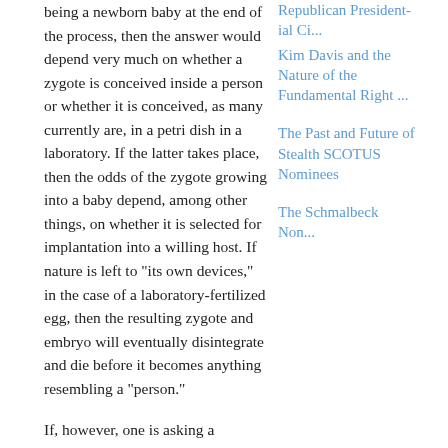being a newborn baby at the end of the process, then the answer would depend very much on whether a zygote is conceived inside a person or whether it is conceived, as many currently are, in a petri dish in a laboratory.  If the latter takes place, then the odds of the zygote growing into a baby depend, among other things, on whether it is selected for implantation into a willing host.  If nature is left to "its own devices," in the case of a laboratory-fertilized egg, then the resulting zygote and embryo will eventually disintegrate and die before it becomes anything resembling a "person."
If, however, one is asking a question about the morality of terminating the life--and thus about the moral status of the life in question--then it would seem completely irrelevant whether the zygote or embryo is located inside a woman or whether it is located in a test-tube inside a
Republican Presidential Ci...
Kim Davis and the Nature of the Fundamental Right ...
The Past and Future of Stealth SCOTUS Nominees
The Schmalb eck Non...